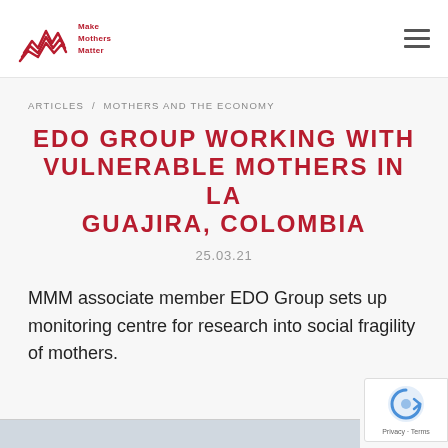Make Mothers Matter — navigation header with logo and hamburger menu
ARTICLES / MOTHERS AND THE ECONOMY
EDO GROUP WORKING WITH VULNERABLE MOTHERS IN LA GUAJIRA, COLOMBIA
25.03.21
MMM associate member EDO Group sets up monitoring centre for research into social fragility of mothers.